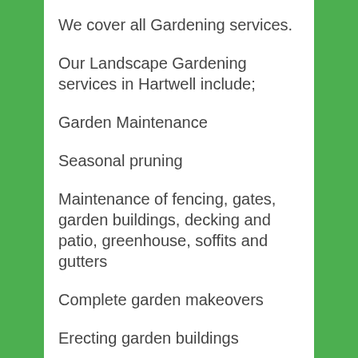We cover all Gardening services.
Our Landscape Gardening services in Hartwell include;
Garden Maintenance
Seasonal pruning
Maintenance of fencing, gates, garden buildings, decking and patio, greenhouse, soffits and gutters
Complete garden makeovers
Erecting garden buildings